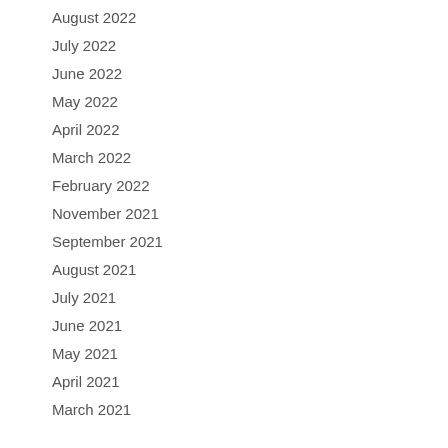August 2022
July 2022
June 2022
May 2022
April 2022
March 2022
February 2022
November 2021
September 2021
August 2021
July 2021
June 2021
May 2021
April 2021
March 2021